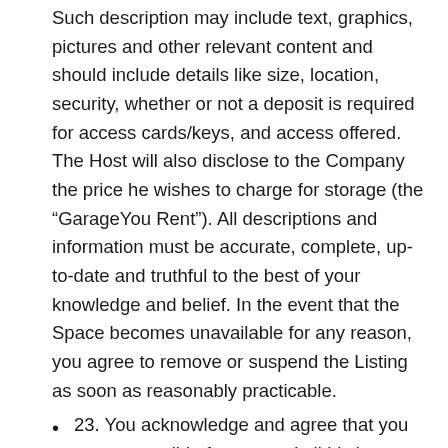Such description may include text, graphics, pictures and other relevant content and should include details like size, location, security, whether or not a deposit is required for access cards/keys, and access offered. The Host will also disclose to the Company the price he wishes to charge for storage (the “GarageYou Rent”). All descriptions and information must be accurate, complete, up-to-date and truthful to the best of your knowledge and belief. In the event that the Space becomes unavailable for any reason, you agree to remove or suspend the Listing as soon as reasonably practicable.
23. You acknowledge and agree that you are responsible for any and all Listings you post. Accordingly, you represent and warrant that any Listing you post and the booking of, or Renter’s use of, a Space in a Listing you post (i) will not breach any agreements you have entered into with any third parties and (ii) will (a) be in compliance with all applicable laws, tax requirements, and rules and